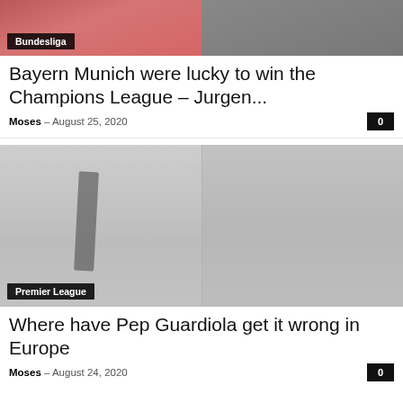[Figure (photo): Two-panel sports photo: left panel shows Bayern Munich players celebrating with trophy in red kit; right panel shows a man in grey jacket. 'Bundesliga' label overlay bottom-left.]
Bayern Munich were lucky to win the Champions League – Jurgen...
Moses – August 25, 2020
[Figure (photo): Two-panel sports photo: left panel shows Pep Guardiola in white shirt and black tie; right panel shows coaching staff gesturing on sideline. 'Premier League' label overlay bottom-left.]
Where have Pep Guardiola get it wrong in Europe
Moses – August 24, 2020